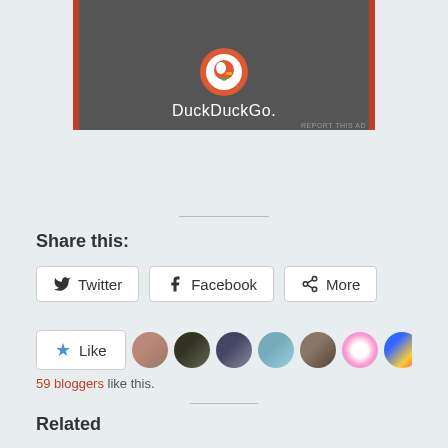[Figure (screenshot): DuckDuckGo advertisement banner with logo on dark background with orange/red side borders]
REPORT THIS AD
Share this:
Twitter  Facebook  More
[Figure (other): Like button with star icon followed by a row of blogger avatar thumbnails]
59 bloggers like this.
Related
Wood-carving Part 1
January 11, 2018
In "ENGLISH"
Wood-carving Part 3 – Tradition in Ohrid
November 16, 2018